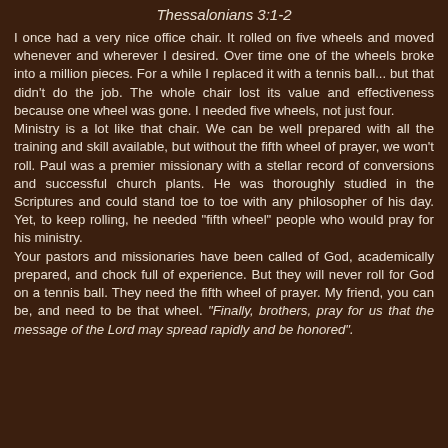Thessalonians 3:1-2
I once had a very nice office chair. It rolled on five wheels and moved whenever and wherever I desired. Over time one of the wheels broke into a million pieces. For a while I replaced it with a tennis ball... but that didn't do the job. The whole chair lost its value and effectiveness because one wheel was gone. I needed five wheels, not just four.
Ministry is a lot like that chair. We can be well prepared with all the training and skill available, but without the fifth wheel of prayer, we won't roll. Paul was a premier missionary with a stellar record of conversions and successful church plants. He was thoroughly studied in the Scriptures and could stand toe to toe with any philosopher of his day. Yet, to keep rolling, he needed "fifth wheel" people who would pray for his ministry.
Your pastors and missionaries have been called of God, academically prepared, and chock full of experience. But they will never roll for God on a tennis ball. They need the fifth wheel of prayer. My friend, you can be, and need to be that wheel. "Finally, brothers, pray for us that the message of the Lord may spread rapidly and be honored".